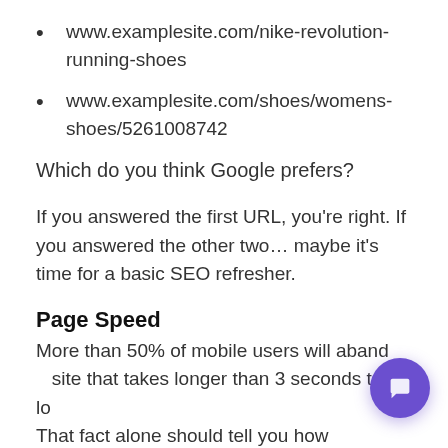www.examplesite.com/nike-revolution-running-shoes
www.examplesite.com/shoes/womens-shoes/5261008742
Which do you think Google prefers?
If you answered the first URL, you’re right. If you answered the other two… maybe it’s time for a basic SEO refresher.
Page Speed
More than 50% of mobile users will abandon a site that takes longer than 3 seconds to load. That fact alone should tell you how important...